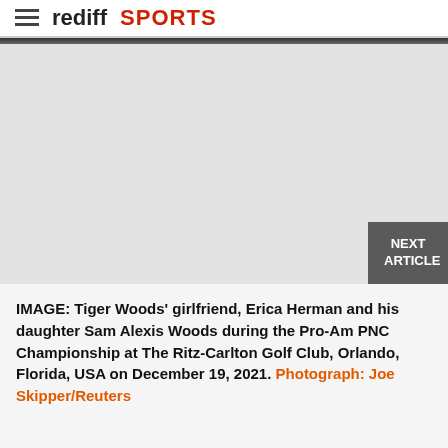rediff SPORTS
[Figure (photo): Partially visible dark photograph at the top of the article, cropped]
IMAGE: Tiger Woods' girlfriend, Erica Herman and his daughter Sam Alexis Woods during the Pro-Am PNC Championship at The Ritz-Carlton Golf Club, Orlando, Florida, USA on December 19, 2021. Photograph: Joe Skipper/Reuters